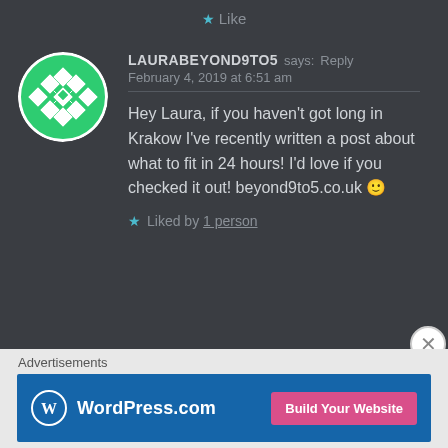Like
[Figure (illustration): Round avatar with green and white geometric diamond/floral pattern design]
LAURABEYOND9TO5 says: Reply
February 4, 2019 at 6:51 am
Hey Laura, if you haven't got long in Krakow I've recently written a post about what to fit in 24 hours! I'd love if you checked it out! beyond9to5.co.uk 🙂
Liked by 1 person
Advertisements
[Figure (screenshot): WordPress.com advertisement banner with blue background and pink 'Build Your Website' button]